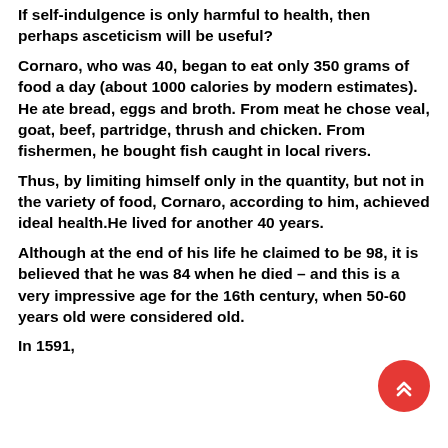If self-indulgence is only harmful to health, then perhaps asceticism will be useful?
Cornaro, who was 40, began to eat only 350 grams of food a day (about 1000 calories by modern estimates). He ate bread, eggs and broth. From meat he chose veal, goat, beef, partridge, thrush and chicken. From fishermen, he bought fish caught in local rivers.
Thus, by limiting himself only in the quantity, but not in the variety of food, Cornaro, according to him, achieved ideal health.He lived for another 40 years.
Although at the end of his life he claimed to be 98, it is believed that he was 84 when he died – and this is a very impressive age for the 16th century, when 50-60 years old were considered old.
In 1591, his grandson published his self-therapy...